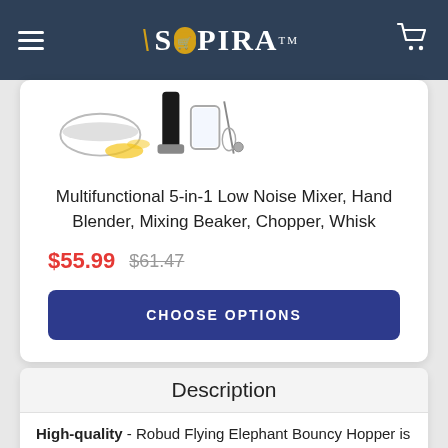SHOPIRA
[Figure (photo): Multifunctional 5-in-1 kitchen blender set product image showing hand blender, mixing beaker, chopper, and whisk attachments]
Multifunctional 5-in-1 Low Noise Mixer, Hand Blender, Mixing Beaker, Chopper, Whisk
$55.99 $61.47
CHOOSE OPTIONS
Description
High-quality - Robud Flying Elephant Bouncy Hopper is made of Thickened and Explosion-proof bouncy